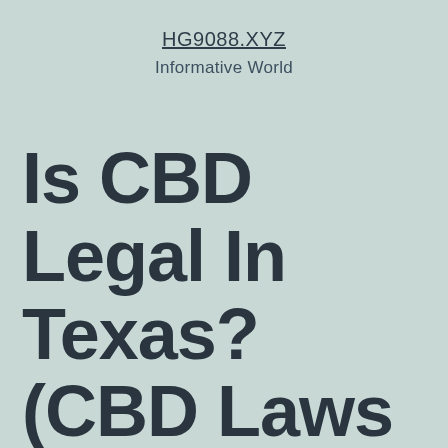HG9088.XYZ
Informative World
Is CBD Legal In Texas? (CBD Laws In 2022)